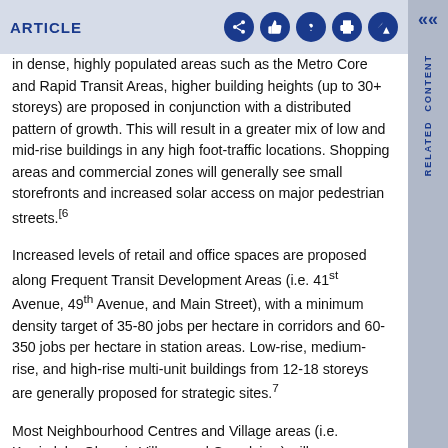ARTICLE
in dense, highly populated areas such as the Metro Core and Rapid Transit Areas, higher building heights (up to 30+ storeys) are proposed in conjunction with a distributed pattern of growth. This will result in a greater mix of low and mid-rise buildings in any high foot-traffic locations. Shopping areas and commercial zones will generally see small storefronts and increased solar access on major pedestrian streets.[6
Increased levels of retail and office spaces are proposed along Frequent Transit Development Areas (i.e. 41st Avenue, 49th Avenue, and Main Street), with a minimum density target of 35-80 jobs per hectare in corridors and 60-350 jobs per hectare in station areas. Low-rise, medium-rise, and high-rise multi-unit buildings from 12-18 storeys are generally proposed for strategic sites.7
Most Neighbourhood Centres and Village areas (i.e. Kerrisdale, Olympic Village and Grandview) will see